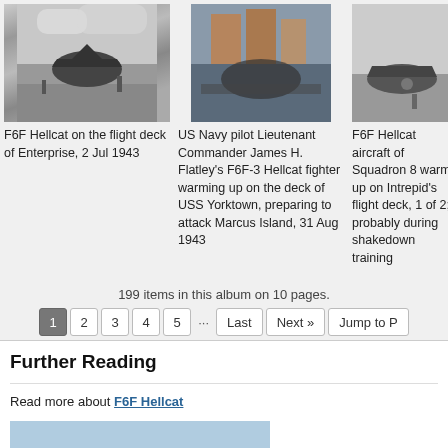[Figure (photo): Black and white photo of F6F Hellcat on the flight deck of Enterprise]
F6F Hellcat on the flight deck of Enterprise, 2 Jul 1943
[Figure (photo): Color photo of US Navy pilot Lieutenant Commander James H. Flatley's F6F-3 Hellcat fighter warming up on the deck of USS Yorktown]
US Navy pilot Lieutenant Commander James H. Flatley's F6F-3 Hellcat fighter warming up on the deck of USS Yorktown, preparing to attack Marcus Island, 31 Aug 1943
[Figure (photo): Black and white photo of F6F Hellcat aircraft of Squadron 8 warming up on Intrepid's flight deck]
F6F Hellcat aircraft of Squadron 8 warm up on Intrepid's flight deck, 1 of 2; probably during shakedown training
199 items in this album on 10 pages.
1 2 3 4 5 … Last Next » Jump to P
Further Reading
Read more about F6F Hellcat
[Figure (photo): Color photo of F6F Hellcat aircraft in flight or on ground, blue color scheme]